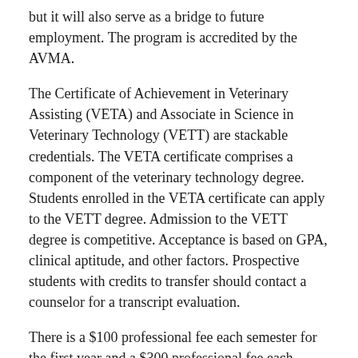but it will also serve as a bridge to future employment. The program is accredited by the AVMA.
The Certificate of Achievement in Veterinary Assisting (VETA) and Associate in Science in Veterinary Technology (VETT) are stackable credentials. The VETA certificate comprises a component of the veterinary technology degree. Students enrolled in the VETA certificate can apply to the VETT degree. Admission to the VETT degree is competitive. Acceptance is based on GPA, clinical aptitude, and other factors. Prospective students with credits to transfer should contact a counselor for a transcript evaluation.
There is a $100 professional fee each semester for the first year and a $300 professional fee each semester for the second year (subject to increase based on program cost and institutional approval).
After completing the program, students will be able to: